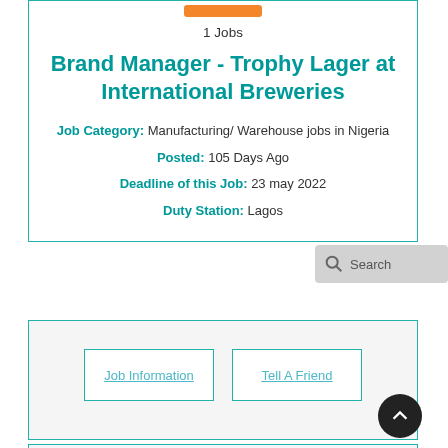1 Jobs
Brand Manager - Trophy Lager at International Breweries
Job Category: Manufacturing/ Warehouse jobs in Nigeria
Posted: 105 Days Ago
Deadline of this Job: 23 may 2022
Duty Station: Lagos
Job Information
Tell A Friend